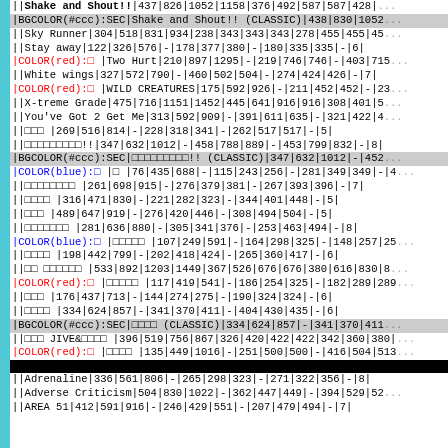| ||Shake and Shout!!|437|826|1052|1158|376|492|587|587|428|... |
| |BGCOLOR(#ccc):SEC|Shake and Shout!! (CLASSIC)|438|830|1052... |
| ||Sky Runner|304|518|831|934|238|343|343|343|278|455|455|45... |
| ||Stay away|122|326|576|-|178|377|380|-|180|335|335|-|6| |
| |COLOR(red):□ |Two Hurt|210|897|1295|-|219|746|746|-|403|715... |
| ||White wings|327|572|790|-|460|502|504|-|274|424|426|-|7| |
| |COLOR(red):□ |WILD CREATURES|175|592|926|-|211|452|452|-|23... |
| ||X-treme Grade|475|716|1151|1452|445|641|916|916|308|401|5... |
| ||You've Got 2 Get Me|313|592|909|-|391|611|635|-|321|422|4... |
| ||□□□ |269|516|814|-|228|318|341|-|262|517|517|-|5| |
| ||□□□□□□□□□!!|347|632|1012|-|458|788|889|-|453|799|832|-|8| |
| |BGCOLOR(#ccc):SEC|□□□□□□□□□!! (CLASSIC)|347|632|1012|-|452... |
| |COLOR(blue):□ |□ |76|435|688|-|115|243|256|-|281|349|349|-|4... |
| ||□□□□□□□□ |261|698|915|-|276|379|381|-|267|393|396|-|7| |
| ||□□□□ |316|471|830|-|221|282|323|-|344|401|448|-|5| |
| ||□□□ |489|647|919|-|276|420|446|-|308|494|504|-|5| |
| ||□□□□□□□ |281|636|880|-|305|341|376|-|253|463|494|-|8| |
| |COLOR(blue):□ |□□□□□ |107|249|591|-|164|298|325|-|148|257|25... |
| ||□□□□ |198|442|799|-|202|418|424|-|265|360|417|-|6| |
| ||□□ □□□□□□ |533|892|1203|1449|367|526|676|676|380|616|830|8... |
| |COLOR(red):□ |□□□□□ |117|419|541|-|186|254|325|-|182|289|289... |
| ||□□□ |176|437|713|-|144|274|275|-|190|324|324|-|6| |
| ||□□□□ |334|624|857|-|341|370|411|-|404|430|435|-|6| |
| |BGCOLOR(#ccc):SEC|□□□□ (CLASSIC)|334|624|857|-|341|370|411... |
| ||□□□ JIVE&□□□□ |396|519|756|867|326|420|422|422|342|360|380|... |
| |COLOR(red):□ |□□□□ |135|449|1016|-|251|500|500|-|416|504|513... |
| |>|>|>|>|>|>|>|>|>|>|>|>|>|>|CENTER:BGCOLOR(black):&aname(x... |
| ||Adrenaline|336|561|806|-|265|298|323|-|271|322|356|-|8| |
| ||Adverse Criticism|504|830|1022|-|362|447|449|-|394|529|52... |
| ||AREA 51|412|591|916|-|246|429|551|-|207|479|494|-|7| |